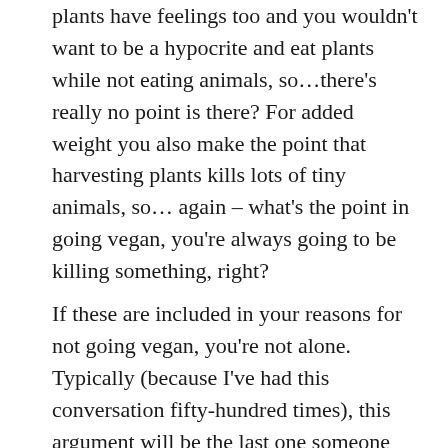plants have feelings too and you wouldn't want to be a hypocrite and eat plants while not eating animals, so…there's really no point is there? For added weight you also make the point that harvesting plants kills lots of tiny animals, so… again – what's the point in going vegan, you're always going to be killing something, right?
If these are included in your reasons for not going vegan, you're not alone.
Typically (because I've had this conversation fifty-hundred times), this argument will be the last one someone pulls out of their excuse arsenal, after 'but vegan isn't good for your health', and 'but grass-fed cows are ok' and 'it's